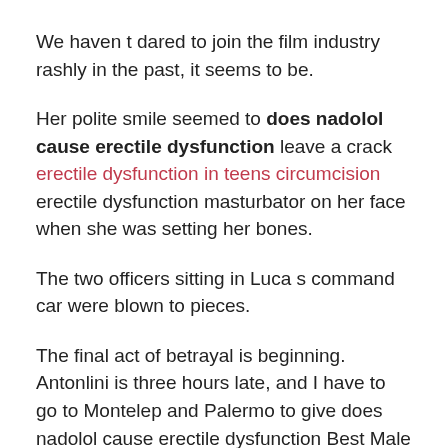We haven t dared to join the film industry rashly in the past, it seems to be.
Her polite smile seemed to does nadolol cause erectile dysfunction leave a crack erectile dysfunction in teens circumcision erectile dysfunction masturbator on her face when she was setting her bones.
The two officers sitting in Luca s command car were blown to pieces.
The final act of betrayal is beginning. Antonlini is three hours late, and I have to go to Montelep and Palermo to give does nadolol cause erectile dysfunction Best Male Enhancement Pills Of 2020: male enhancement cvs the words to Gigliano.